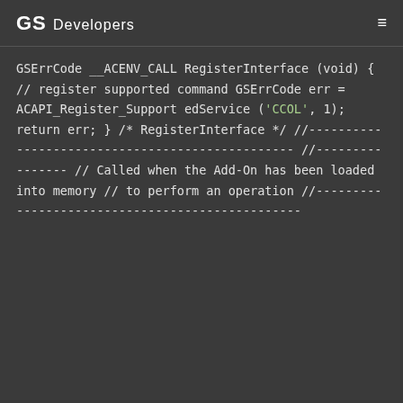GS Developers
GSErrCode __ACENV_CALL  RegisterInterface
(void)
{
      // register supported command
      GSErrCode err = ACAPI_Register_SupportedService ('CCOL', 1);

      return err;
}        /* RegisterInterface */


//------------------------------------------------
//----------------
// Called when the Add-On has been loaded into memory
// to perform an operation
//------------------------------------------------